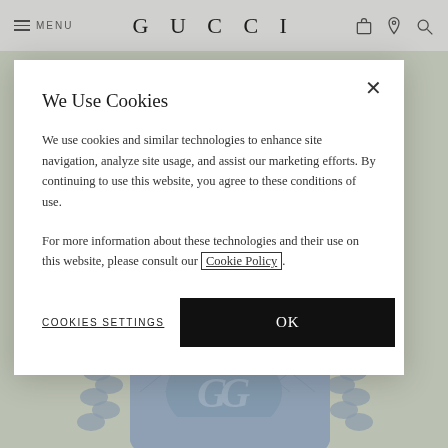MENU | GUCCI
[Figure (screenshot): Gucci website background showing a light blue quilted GG Marmont mini bag on a sage green background]
We Use Cookies
We use cookies and similar technologies to enhance site navigation, analyze site usage, and assist our marketing efforts. By continuing to use this website, you agree to these conditions of use.
For more information about these technologies and their use on this website, please consult our Cookie Policy.
COOKIES SETTINGS
OK